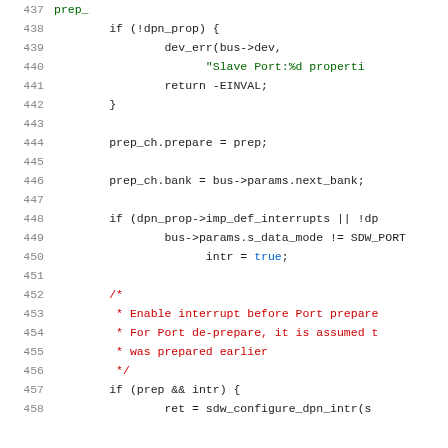[Figure (screenshot): Source code listing in a code editor showing lines 437-458 of a C program. Line numbers are shown in gray on the left. Code includes conditional statements, function calls, struct assignments, and comments in various colors (black for code, green for string literals, red for comments, blue for boolean values).]